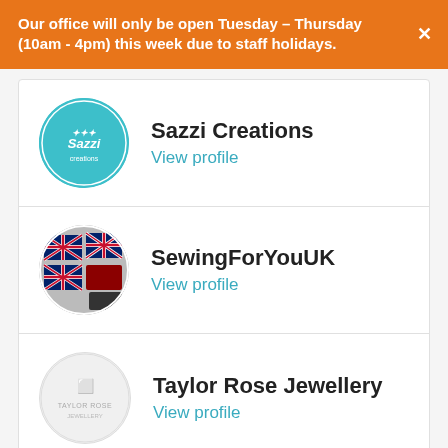Our office will only be open Tuesday - Thursday (10am - 4pm) this week due to staff holidays.
Sazzi Creations
View profile
SewingForYouUK
View profile
Taylor Rose Jewellery
View profile